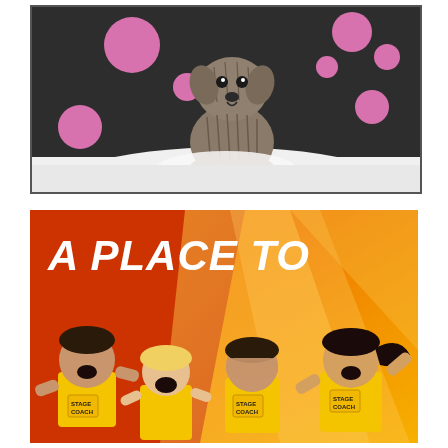[Figure (photo): A wet dog (small terrier/schnauzer mix) sitting in a bathtub with white foam/bubbles around it, set against a dark charcoal background with pink polka dot circles of various sizes scattered around]
[Figure (photo): Stagecoach performing arts school advertisement with orange gradient background and geometric triangular shapes. Large white bold italic text reads 'A PLACE TO' in the upper left on a red/orange triangle. Four children in yellow Stagecoach t-shirts at the bottom, mouths open in expressions of wonder and excitement.]